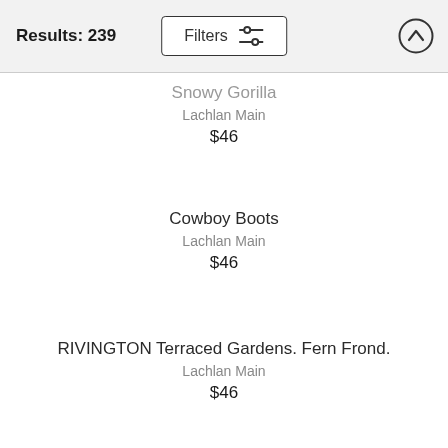Results: 239
Filters
Snowy Gorilla
Lachlan Main
$46
Cowboy Boots
Lachlan Main
$46
RIVINGTON Terraced Gardens. Fern Frond.
Lachlan Main
$46